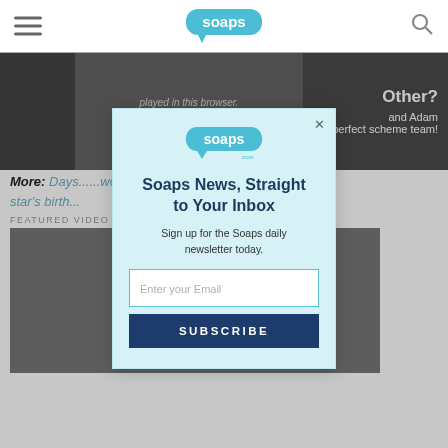soaps.com
[Figure (screenshot): Video player with error message: played in this browser. (Error Code: 242632) and overlay text 'Other?' and 'and Adam are a perfect scheme team!']
More: Days... ...wood star's birth...
FEATURED VIDEO
[Figure (screenshot): Second video player area with play button circle]
[Figure (screenshot): Modal popup: Soaps News, Straight to Your Inbox. Sign up for the Soaps daily newsletter today. Email input and Subscribe button.]
Soaps News, Straight to Your Inbox
Sign up for the Soaps daily newsletter today.